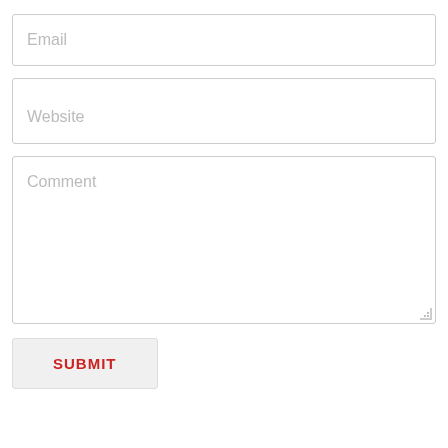[Figure (screenshot): A web form with three input fields (Email, Website, Comment) and a Submit button. Email and Website are single-line text inputs with placeholder text in gray. Comment is a large textarea with a resize handle. Submit is a button with red uppercase text on a light gray background.]